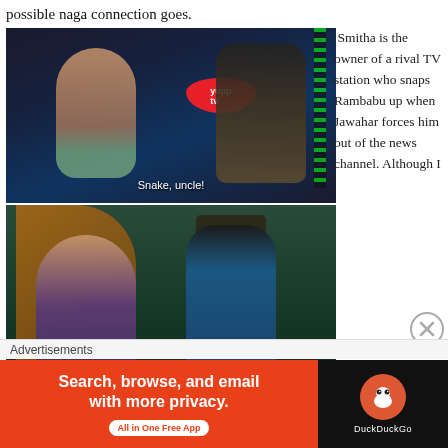possible naga connection goes.
[Figure (screenshot): Movie screenshot showing a young woman in a teal top facing a man in a plaid shirt, with a red oval logo (Yupptv) visible. Subtitle reads: Snake, uncle!]
[Figure (screenshot): Movie screenshot showing a young woman in a purple top gesturing, next to a security guard in a blue uniform. Subtitle reads: You're a snake!]
Smitha is the owner of a rival TV station who snaps Rambabu up when Jawahar forces him out of the news channel. Although I
Advertisements
[Figure (screenshot): DuckDuckGo advertisement banner: 'Search, browse, and email with more privacy. All in One Free App' with DuckDuckGo logo on the right.]